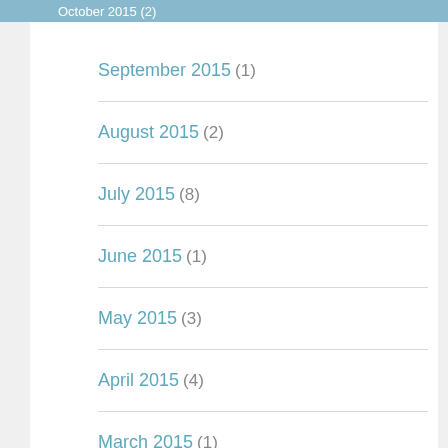October 2015 (2)
September 2015 (1)
August 2015 (2)
July 2015 (8)
June 2015 (1)
May 2015 (3)
April 2015 (4)
March 2015 (1)
February 2015 (1)
January 2015 (1)
August 2012 (1)